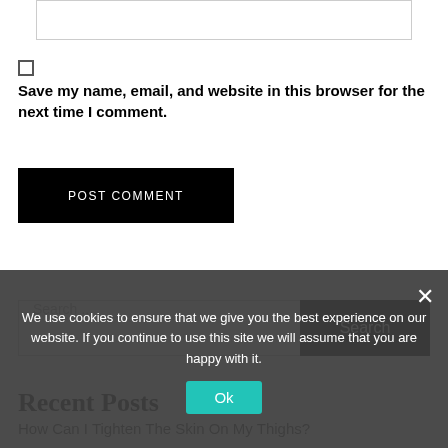[Figure (screenshot): Text input box (website field)]
Save my name, email, and website in this browser for the next time I comment.
POST COMMENT button
Search ...
Recent Posts
How Can I Tighten The Skin On My Thighs?
We use cookies to ensure that we give you the best experience on our website. If you continue to use this site we will assume that you are happy with it.
Ok